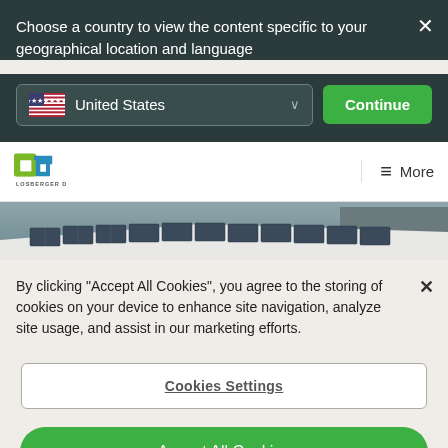Choose a country to view the content specific to your geographical location and language
[Figure (screenshot): Country selector dropdown showing United States with flag, chevron, and Continue button on dark teal background]
[Figure (logo): Losberger De Boer logo — green and blue square icon with company name below]
[Figure (photo): Photo strip showing solar panels on a tent/temporary structure roof against a grey sky]
By clicking "Accept All Cookies", you agree to the storing of cookies on your device to enhance site navigation, analyze site usage, and assist in our marketing efforts.
Cookies Settings
Accept All Cookies